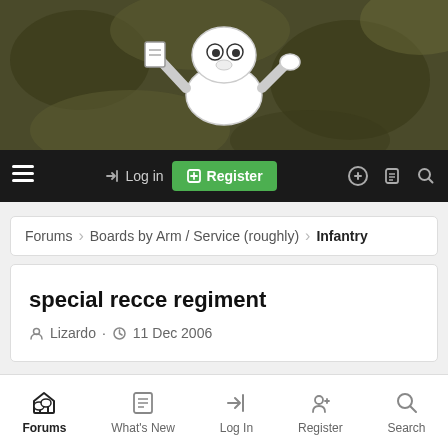[Figure (illustration): Military forum banner with cartoon soldier character on camouflage background]
Log in | Register | [toggle] [document] [search]
Forums › Boards by Arm / Service (roughly) › Infantry
special recce regiment
Lizardo · 11 Dec 2006
Forums | What's New | Log In | Register | Search